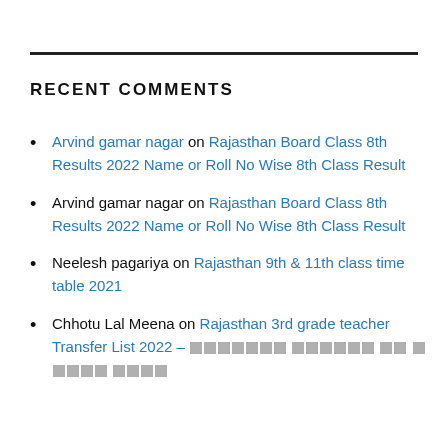RECENT COMMENTS
Arvind gamar nagar on Rajasthan Board Class 8th Results 2022 Name or Roll No Wise 8th Class Result
Arvind gamar nagar on Rajasthan Board Class 8th Results 2022 Name or Roll No Wise 8th Class Result
Neelesh pagariya on Rajasthan 9th & 11th class time table 2021
Chhotu Lal Meena on Rajasthan 3rd grade teacher Transfer List 2022 – [corrupted text]